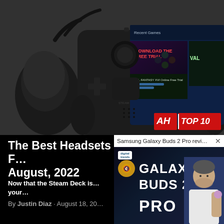[Figure (photo): Photo of a gaming mouse and Steam Deck handheld gaming PC on a grey textured surface, with the Steam Deck screen showing game titles. Red badge in bottom-right corner reads 'AH TOP 10'.]
The Best Headsets F... August, 2022
Now that the Steam Deck is... your...
By Justin Diaz · August 18, 20...
[Figure (screenshot): Popup video overlay showing 'Samsung Galaxy Buds 2 Pro review | Gr...' with an X close button. Shows the Digital Trends logo, a muted speaker icon, large text reading GALAXY BUDS 2 PRO, and a person holding a purple earbud on the right side.]